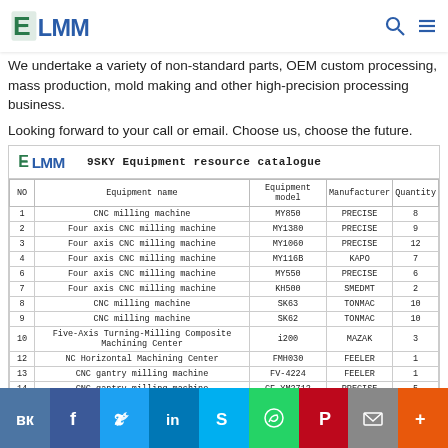ELMM logo header with search and menu icons
We undertake a variety of non-standard parts, OEM custom processing, mass production, mold making and other high-precision processing business.
Looking forward to your call or email. Choose us, choose the future.
[Figure (table-as-image): 9SKY Equipment resource catalogue table with columns: NO, Equipment name, Equipment model, Manufacturer, Quantity. Rows include CNC milling machine MY850 PRECISE 8; Four axis CNC milling machine MY1380 PRECISE 9; Four axis CNC milling machine MY1060 PRECISE 12; Four axis CNC milling machine MY116B KAPO 7; Four axis CNC milling machine MY550 PRECISE 6; Four axis CNC milling machine KH500 SMEDMT 2; CNC milling machine SK63 TONMAC 10; CNC milling machine SK62 TONMAC 10; Five Axis Turning Milling Composite Machining Center i200 MAZAK 3; NC Horizontal Machining Center FMH030 FEELER 1; CNC gantry milling machine FV-4224 FEELER 1; CNC gantry milling machine CF-YM2712 PRECISE 5; CNC lathe CK6180 SMTCL 6]
Social share bar: VK, Facebook, Twitter, LinkedIn, Skype, WhatsApp, Pinterest, Email, More